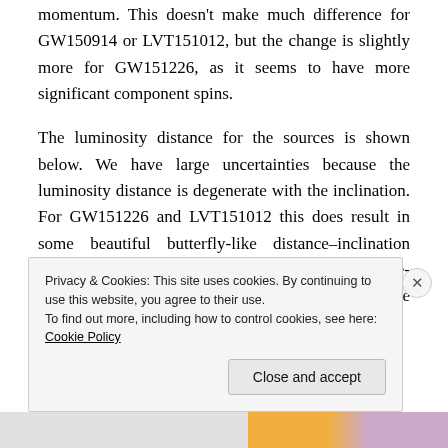momentum. This doesn't make much difference for GW150914 or LVT151012, but the change is slightly more for GW151226, as it seems to have more significant component spins.
The luminosity distance for the sources is shown below. We have large uncertainties because the luminosity distance is degenerate with the inclination. For GW151226 and LVT151012 this does result in some beautiful butterfly-like distance–inclination plots. For GW150914, the butterfly only has the face-off inclination wing (probably as consequence of the signal
Privacy & Cookies: This site uses cookies. By continuing to use this website, you agree to their use.
To find out more, including how to control cookies, see here: Cookie Policy